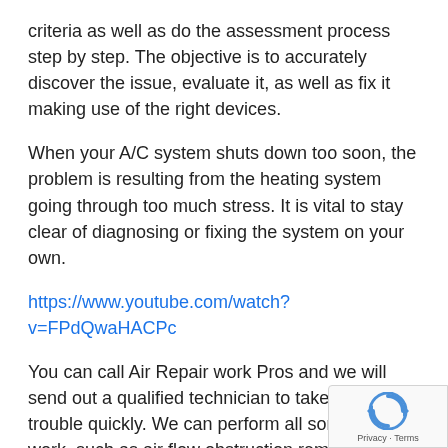criteria as well as do the assessment process step by step. The objective is to accurately discover the issue, evaluate it, as well as fix it making use of the right devices.
When your A/C system shuts down too soon, the problem is resulting from the heating system going through too much stress. It is vital to stay clear of diagnosing or fixing the system on your own.
https://www.youtube.com/watch?v=FPdQwaHACPc
You can call Air Repair work Pros and we will send out a qualified technician to take care of the trouble quickly. We can perform all sorts of repair work, such as air flow obstruction removal, air filter replacement, blower electric motor fixing, burner repair work, and so on.
[Figure (logo): Google reCAPTCHA badge in bottom-right corner showing reCAPTCHA logo with Privacy and Terms links]